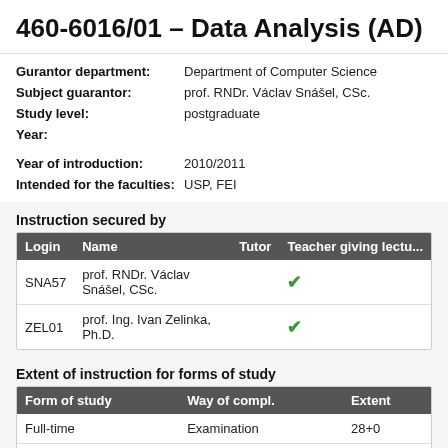460-6016/01 – Data Analysis (AD)
Gurantor department: Department of Computer Science
Subject guarantor: prof. RNDr. Václav Snášel, CSc.
Study level: postgraduate
Year:
Year of introduction: 2010/2011
Intended for the faculties: USP, FEI
Instruction secured by
| Login | Name | Tutor | Teacher giving lectu... |
| --- | --- | --- | --- |
| SNA57 | prof. RNDr. Václav Snášel, CSc. |  | ✓ |
| ZEL01 | prof. Ing. Ivan Zelinka, Ph.D. |  | ✓ |
Extent of instruction for forms of study
| Form of study | Way of compl. | Extent |
| --- | --- | --- |
| Full-time | Examination | 28+0 |
| Part-time | Examination | 28+0 |